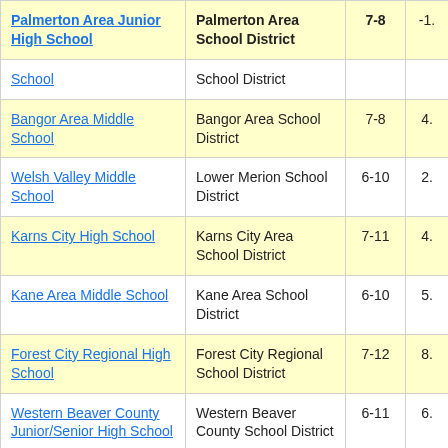| School | District | Grades | Value |
| --- | --- | --- | --- |
| Palmerton Area Junior High School | Palmerton Area School District | 7-8 | -1. |
| School | School District |  |  |
| Bangor Area Middle School | Bangor Area School District | 7-8 | 4. |
| Welsh Valley Middle School | Lower Merion School District | 6-10 | 2. |
| Karns City High School | Karns City Area School District | 7-11 | 4. |
| Kane Area Middle School | Kane Area School District | 6-10 | 5. |
| Forest City Regional High School | Forest City Regional School District | 7-12 | 8. |
| Western Beaver County Junior/Senior High School | Western Beaver County School District | 6-11 | 6. |